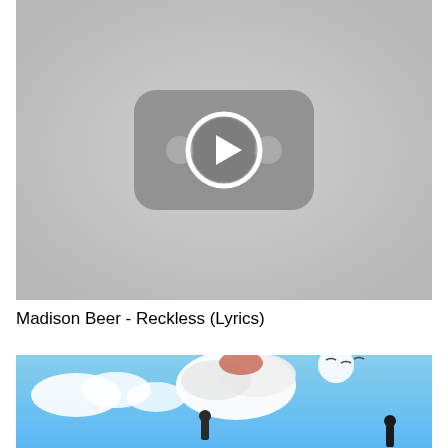[Figure (screenshot): YouTube video placeholder thumbnail with grey background and YouTube play button icon in center]
Madison Beer - Reckless (Lyrics)
[Figure (screenshot): Video thumbnail showing a blue sky scene with clouds and what appears to be anime or animated content with a figure and explosion/smoke]